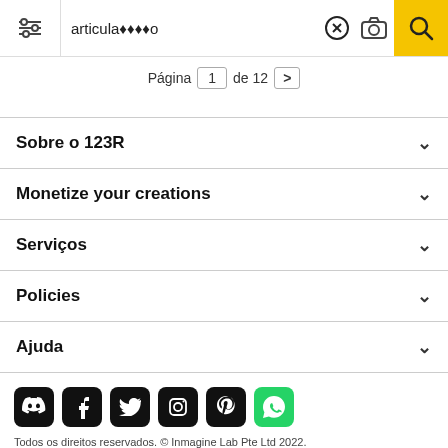articulação (search bar with filter, camera, and search icons)
Página 1 de 12 >
Sobre o 123R
Monetize your creations
Serviços
Policies
Ajuda
[Figure (infographic): Row of social media icons: Discord, Facebook, Twitter, Instagram, Pinterest, WhatsApp]
Todos os direitos reservados. © Inmagine Lab Pte Ltd 2022.